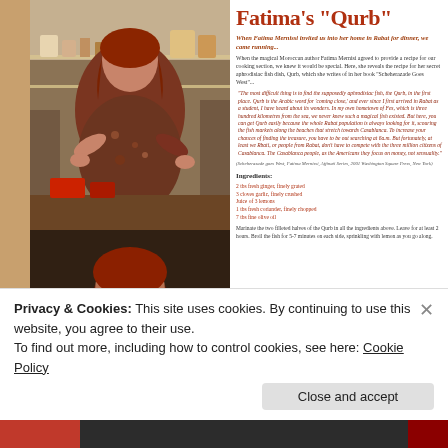[Figure (photo): Woman in kitchen cooking, wearing patterned blouse, with red/brown surroundings]
[Figure (photo): Second photo of woman with reddish hair, darker tones]
Fatima's "Qurb"
When Fatima Mernissi invited us into her home in Rabat for dinner, we came running...
When the magical Moroccan author Fatima Mernisi agreed to provide a recipe for our cooking section, we knew it would be special. Here, she reveals the recipe for her secret aphrodisiac fish dish, Qurb, which she writes of in her book "Scheherazade Goes West"...
"The most difficult thing is to find the supposedly aphrodisiac fish, the Qurb, in the first place. Qurb is the Arabic word for 'coming close,' and ever since I first arrived in Rabat as a student, I have heard about its wonders. In my own hometown of Fes, which is three hundred kilometers from the sea, we never knew such a magical fish existed. But here, you can't get Qurb easily because the whole Rabat population is always looking for it, scouring the fish markets along the beaches that stretch towards Casablanca. To increase your chances of finding the treasure, you have to be out searching at 6a.m. But fortunately, at least we Rbati, or people from Rabat, don't have to compete with the three million citizens of Casablanca. The Casablanca people, as the Americans they focus on money, not sensuality."
(Scheherazade goes West, Fatima Mernissi, Affinati Series, 2001 Washington Square Press, New York)
Ingredients:
2 tbs fresh ginger, finely grated
3 cloves garlic, finely crushed
Juice of 3 lemons
1 tbs fresh coriander, finely chopped
7 tbs fine olive oil
Marinate the two filleted halves of the Qurb in all the ingredients above. Leave for at least 2 hours. Broil the fish for 5-7 minutes on each side, sprinkling with lemon as you go along.
Privacy & Cookies: This site uses cookies. By continuing to use this website, you agree to their use. To find out more, including how to control cookies, see here: Cookie Policy
Close and accept